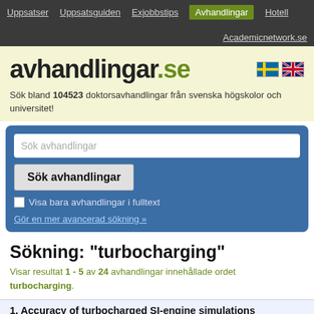Uppsatser | Uppsatsguiden | Exjobbstips | Avhandlingar | Hotell | Academicnetwork.se
avhandlingar.se
Sök bland 104523 doktorsavhandlingar från svenska högskolor och universitet!
Sök avhandlingar [search input]
Sök avhandlingar [button]
Visa bara avhandlingar i fulltext
Gör en mer avancerad sökning »
Sökning: "turbocharging"
Visar resultat 1 - 5 av 24 avhandlingar innehållade ordet turbocharging.
1. Accuracy of turbocharged SI-engine simulations